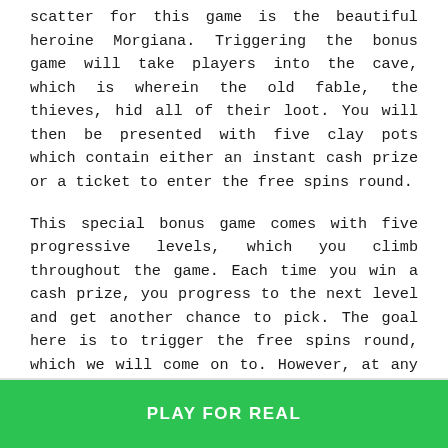scatter for this game is the beautiful heroine Morgiana. Triggering the bonus game will take players into the cave, which is wherein the old fable, the thieves, hid all of their loot. You will then be presented with five clay pots which contain either an instant cash prize or a ticket to enter the free spins round.
This special bonus game comes with five progressive levels, which you climb throughout the game. Each time you win a cash prize, you progress to the next level and get another chance to pick. The goal here is to trigger the free spins round, which we will come on to. However, at any time, the thieves may return to the cave and discover you. If this should happen, it ends the feature immediately. The five different levels are explained below:
PLAY FOR REAL